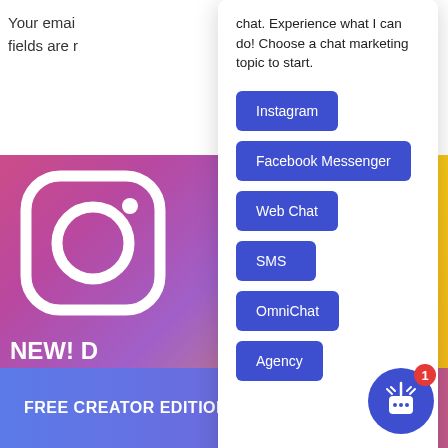Your emai
fields are r
chat. Experience what I can do! Choose a chat marketing topic to start.
Instagram
Facebook Messenger
Web Chat
SMS
OmniChat
Agency
[Figure (logo): Instagram logo in white on pink/gradient background]
NEW! D
DM Au
Grow foll
via Instag
FREE CREATOR EDITION THIS WEEK!